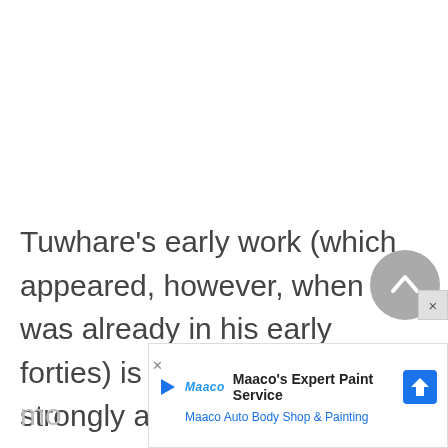Tuwhare's early work (which appeared, however, when he was already in his early forties) is lyrical, with a strongly aural quality, full of assonance and half rhyme within a tightly written free verse form. Trees, mo... in are...
[Figure (other): Gray circular back-to-top button with chevron/caret up arrow icon]
[Figure (other): Advertisement banner for Maaco's Expert Paint Service - Maaco Auto Body Shop & Painting, with play icon, Maaco logo, blue diamond direction sign icon]